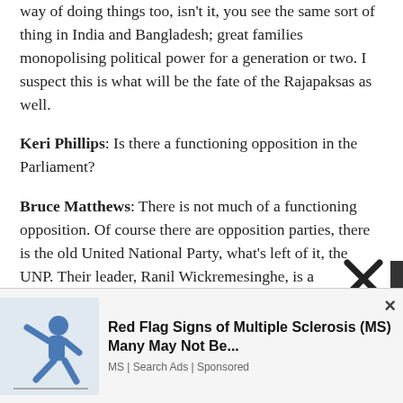way of doing things too, isn't it, you see the same sort of thing in India and Bangladesh; great families monopolising political power for a generation or two. I suspect this is what will be the fate of the Rajapaksas as well.
Keri Phillips: Is there a functioning opposition in the Parliament?
Bruce Matthews: There is not much of a functioning opposition. Of course there are opposition parties, there is the old United National Party, what's left of it, the UNP. Their leader, Ranil Wickremesinghe, is a distinguished parliamentarian, but perhaps not
[Figure (other): Advertisement: Red Flag Signs of Multiple Sclerosis (MS) Many May Not Be... MS | Search Ads | Sponsored. Shows an illustration of a person falling/stumbling.]